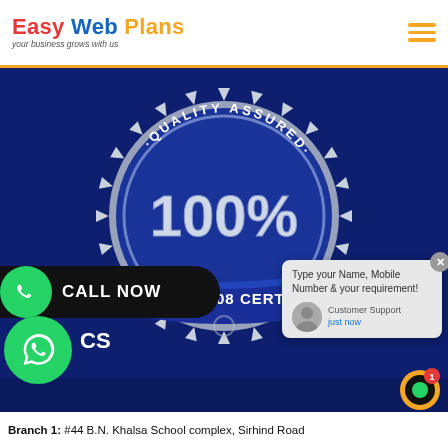Easy Web Plans - your business grows with us
[Figure (logo): Quality Assured 100% ISO 9001:2008 Certified badge/seal on dark blue background]
CALL NOW
[Figure (logo): WhatsApp floating button icon]
CS
Type your Name, Mobile Number & your requirement!
Customer Support just now
Branch 1: #44 B.N. Khalsa School complex, Sirhind Road